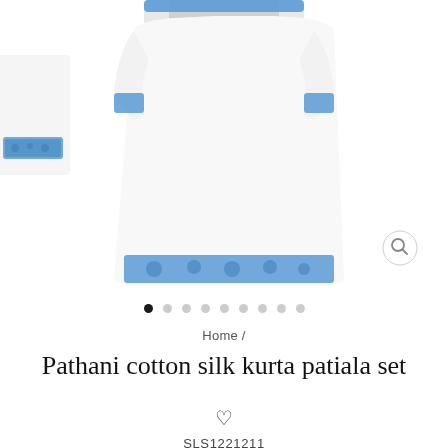[Figure (photo): Product photo of a white and blue Pathani cotton silk kurta patiala set. Shows white fabric with blue floral/paisley trim at hemline and sleeves, photographed on a white background. Multiple views partially visible.]
Home /
Pathani cotton silk kurta patiala set
SLS1221211
2,800.00 Rs